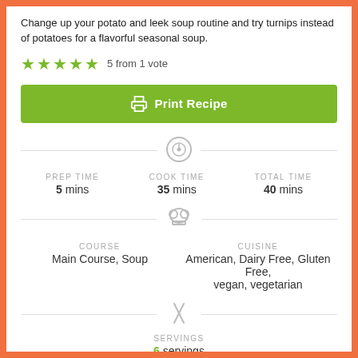Change up your potato and leek soup routine and try turnips instead of potatoes for a flavorful seasonal soup.
★★★★★ 5 from 1 vote
[Figure (other): Green Print Recipe button with printer icon]
[Figure (infographic): Recipe info: PREP TIME 5 mins, COOK TIME 35 mins, TOTAL TIME 40 mins, COURSE Main Course Soup, CUISINE American Dairy Free Gluten Free vegan vegetarian, SERVINGS 6 servings]